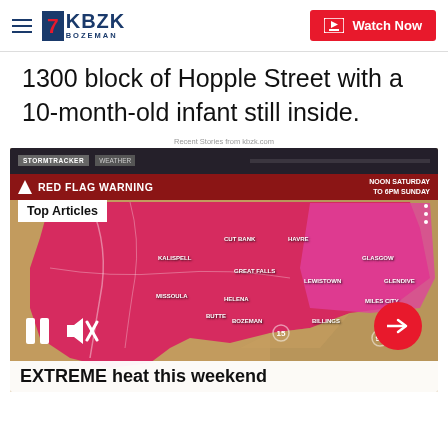7KBZK BOZEMAN | Watch Now
1300 block of Hopple Street with a 10-month-old infant still inside.
Recent Stories from kbzk.com
[Figure (screenshot): KBZK weather broadcast screenshot showing a RED FLAG WARNING for Montana from Noon Saturday to 6PM Sunday. A pink-highlighted map of Montana shows affected areas including Kalispell, Cut Bank, Havre, Glasgow, Missoula, Great Falls, Lewistown, Glendive, Helena, Butte, Bozeman, Billings, and Miles City. The video player shows Top Articles overlay, pause and mute controls, and a red arrow button. Caption reads EXTREME heat this weekend.]